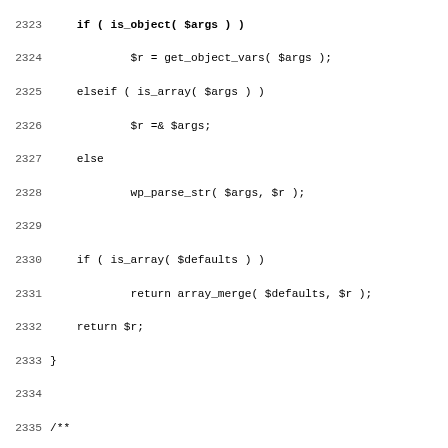[Figure (other): Source code listing in PHP showing lines 2324-2355 of a WordPress codebase, including functions wp_parse_args and wp_parse_id_list, with line numbers on the left.]